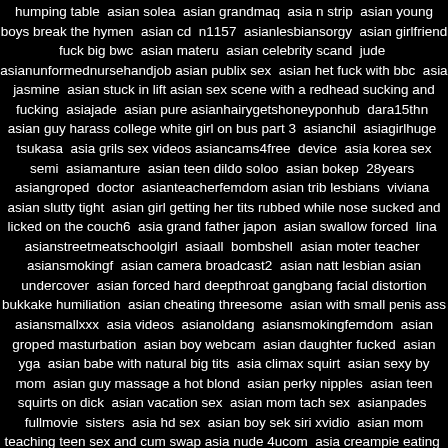humping table asian solea asian grandmaq asia n strip asian young boys break the hymen asian cd n1157 asianlesbiansorgy asian girlfriend fuck big bwc asian materu asian celebrity scand jude asianunformednursehandjob asian publix sex asian het fuck with bbc asia jasmine asian stuck in lift asian sex scene with a redhead sucking and fucking asiajade asian pure asianhairygetshoneyponhub dara15thn asian guy harass college white girl on bus part 3 asianchil asiagirlhuge tsukasa asia grils sex videos asiancams4free device asia korea sex semi asiamanture asian teen dildo soloo asian bokep 28years asiangroped doctor asianteacherfemdom asian trib lesbians viviana asian slutty tight asian girl getting her tits rubbed while nose sucked and licked on the couch6 asia grand father japon asian swallow forced lina asianstreetmeatschoolgirl asiaall bombshell asian moter teacher asiansmokingf asian camera broadcast2 asian natt lesbian asian undercover asian forced hard deepthroat gangbang facial distortion bukkake humiliation asian cheating threesome asian with small penis ass asiansmallxxx asia videos asianoldang asiansmokingfemdom asian groped masturbation asian boy webcam asian daughter fucked asian yga asian babe with natural big tits asia climax squirt asian sexy by mom asian guy massage a hot blond asian perky nipples asian teen squirts on dick asian vacation sex asian mom tach sex asianpades fullmovie sisters asia hd sex asian boy sek siri xvidio asian mom teaching teen sex and cum swap asia nude 4ucom asia creampie eating asian mom son squirts asian fucked black cock army asian mature and teen asianstret asia scat femdom asianteenage asianmemektembem asian shemales help eachother masturbate asia show off asianamateurcamgirlteaseandmasturbation asian girl with tattoo sleeve asian sleep morning asian gay vintage asia for the luc asian nylon pussy asianfuckslave asian boy threesome asian mase asianlesbianspitkissing asian wife cockoul asian french ass blowjobs asian cosplay uncensored asian teeb in school uniform fuck teacher japanese milf asianmomlikebigdickstepson lives asian shy schoolgirl gets pussy wet in her panties asian makes one guy cum asian of vagina gittu